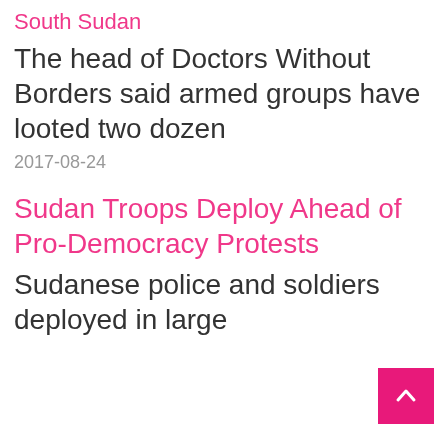South Sudan
The head of Doctors Without Borders said armed groups have looted two dozen
2017-08-24
Sudan Troops Deploy Ahead of Pro-Democracy Protests
Sudanese police and soldiers deployed in large